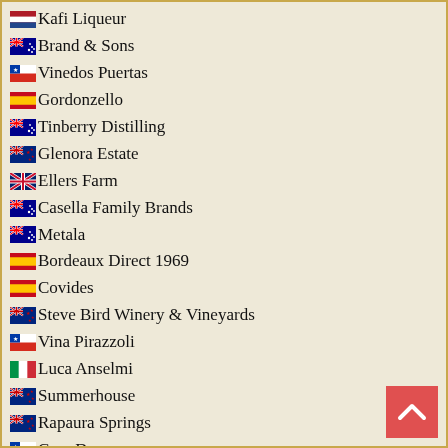Kafi Liqueur
Brand & Sons
Vinedos Puertas
Gordonzello
Tinberry Distilling
Glenora Estate
Ellers Farm
Casella Family Brands
Metala
Bordeaux Direct 1969
Covides
Steve Bird Winery & Vineyards
Vina Pirazzoli
Luca Anselmi
Summerhouse
Rapaura Springs
Casa Donoso
Sunrise Wines Distribution
Mottomojo
Paddy Borthwick